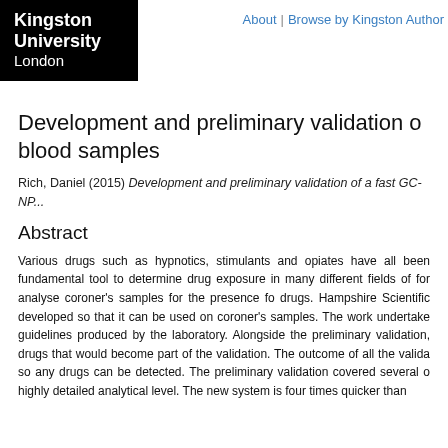Kingston University London | About | Browse by Kingston Author
Development and preliminary validation of a fast GC-NP... blood samples
Rich, Daniel (2015) Development and preliminary validation of a fast GC-NP...
Abstract
Various drugs such as hypnotics, stimulants and opiates have all been fundamental tool to determine drug exposure in many different fields of for analyse coroner's samples for the presence fo drugs. Hampshire Scientific developed so that it can be used on coroner's samples. The work undertake guidelines produced by the laboratory. Alongside the preliminary validation, drugs that would become part of the validation. The outcome of all the valida so any drugs can be detected. The preliminary validation covered several o highly detailed analytical level. The new system is four times quicker than